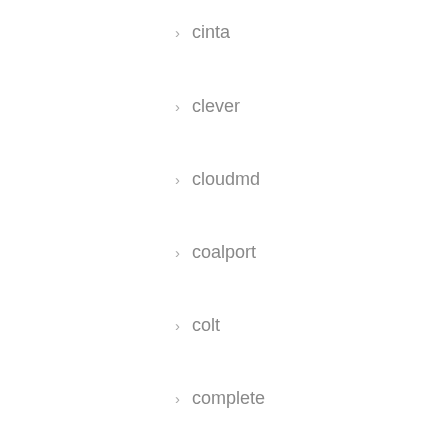cinta
clever
cloudmd
coalport
colt
complete
connor
cool
craig
cruise
cryptik
cyndi
daim
daisy
damien